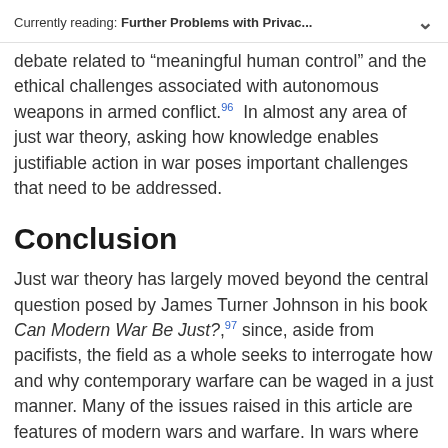Currently reading: Further Problems with Privac...
debate related to "meaningful human control" and the ethical challenges associated with autonomous weapons in armed conflict.96 In almost any area of just war theory, asking how knowledge enables justifiable action in war poses important challenges that need to be addressed.
Conclusion
Just war theory has largely moved beyond the central question posed by James Turner Johnson in his book Can Modern War Be Just?,97 since, aside from pacifists, the field as a whole seeks to interrogate how and why contemporary warfare can be waged in a just manner. Many of the issues raised in this article are features of modern wars and warfare. In wars where distinction is largely obvious, the kinds of intelligence collection